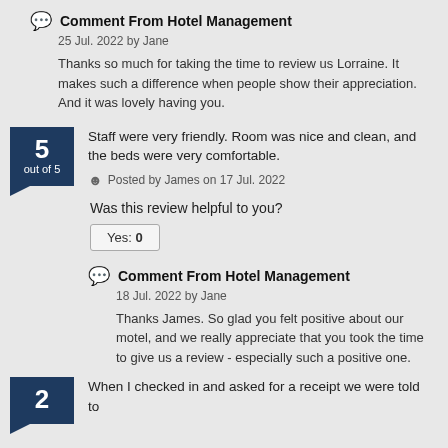Comment From Hotel Management
25 Jul. 2022 by Jane
Thanks so much for taking the time to review us Lorraine. It makes such a difference when people show their appreciation. And it was lovely having you.
Staff were very friendly. Room was nice and clean, and the beds were very comfortable.
Posted by James on 17 Jul. 2022
Was this review helpful to you?
Yes: 0
Comment From Hotel Management
18 Jul. 2022 by Jane
Thanks James. So glad you felt positive about our motel, and we really appreciate that you took the time to give us a review - especially such a positive one.
When I checked in and asked for a receipt we were told to